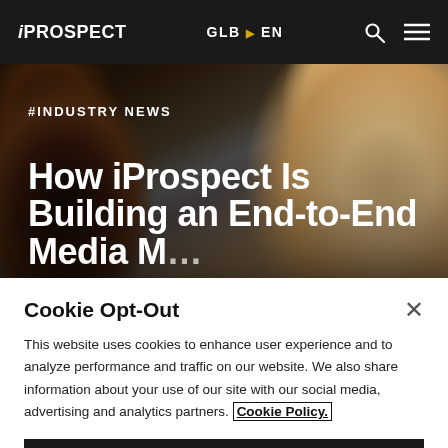iPROSPECT  GLB ▶ EN
[Figure (photo): Hero image showing two people smiling, dark-skinned person on left, blonde person on right, with overlay text]
#INDUSTRY NEWS
How iProspect Is Building an End-to-End Media M...
Cookie Opt-Out
This website uses cookies to enhance user experience and to analyze performance and traffic on our website. We also share information about your use of our site with our social media, advertising and analytics partners. Cookie Policy.
Cookie Settings